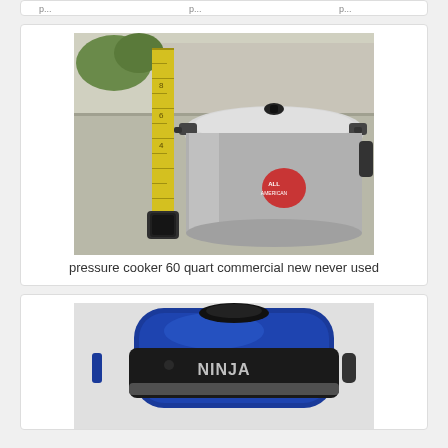[Figure (photo): Top partial card showing cropped text row at top of page]
[Figure (photo): A large commercial stainless steel pressure cooker (60 quart) placed on a concrete surface next to a yellow measuring tape/ruler standing upright. The pressure cooker has a locking lid with handles. Shot outdoors.]
pressure cooker 60 quart commercial new never used
[Figure (photo): A blue and black Ninja brand kitchen appliance (blender/food processor) shown from above/front angle. The Ninja logo is visible in silver text on the front of the unit.]